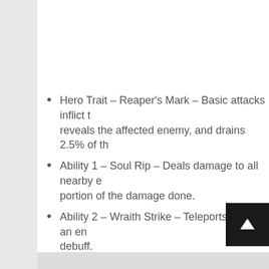Hero Trait – Reaper's Mark – Basic attacks inflict the Reaper's Mark, reveals the affected enemy, and drains 2.5% of th…
Ability 1 – Soul Rip – Deals damage to all nearby enemies and heals a portion of the damage done.
Ability 2 – Wraith Strike – Teleports through an enemy and applies a debuff.
Ability 3 – Death Shroud – Emits a wave of dark m…
Heroic Ability 1 – Tormented Souls – Gives Maltha… duration of 4 seconds.
Heroic Ability 2 – Last Rites – Marks an enemy and… an enemy dies under this condition, the ability's…